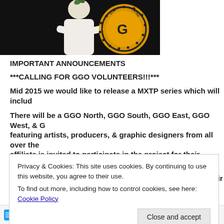[Figure (photo): Person in white clothing with arms crossed, with a circular logo/emblem reading 'GOVERNING the UNITED HOODZ' in the background, on a dark background.]
IMPORTANT ANNOUNCEMENTS
***CALLING FOR GGO VOLUNTEERS!!!***
Mid 2015 we would like to release a MXTP series which will includ...
There will be a GGO North, GGO South, GGO East, GGO West, & G... featuring artists, producers, & graphic designers from all over the... affiliate is invited to participate in the project for their region.
We need graphic designers to design the cover for their re...
Producers for the project
Privacy & Cookies: This site uses cookies. By continuing to use this website, you agree to their use.
To find out more, including how to control cookies, see here: Cookie Policy
Close and accept
Follow